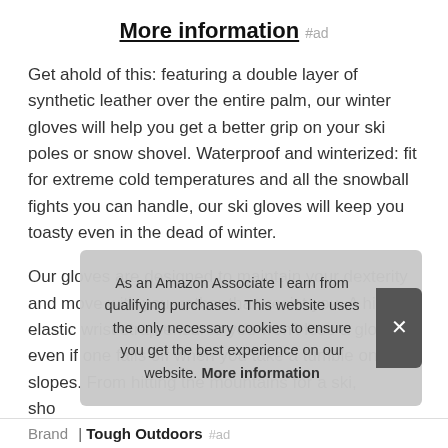More information #ad
Get ahold of this: featuring a double layer of synthetic leather over the entire palm, our winter gloves will help you get a better grip on your ski poles or snow shovel. Waterproof and winterized: fit for extreme cold temperatures and all the snowball fights you can handle, our ski gloves will keep you toasty even in the dead of winter.
Our gloves are designed to maintain your dexterity and move with you, rather than resist you. A hidden elastic wrist strap ensures you won't lose a glove, even if one falls off when you take a tumble on the slopes. From hitting the mountains for a ski, [partially obscured] sho[veling] you[r driveway],
As an Amazon Associate I earn from qualifying purchases. This website uses the only necessary cookies to ensure you get the best experience on our website. More information
| Brand |
| --- |
| Tough Outdoors #ad |